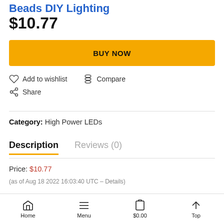Beads DIY Lighting
$10.77
BUY NOW
Add to wishlist
Compare
Share
Category:  High Power LEDs
Description
Reviews (0)
Price: $10.77
(as of Aug 18 2022 16:03:40 UTC - Details)
Home  Menu  $0.00  Top